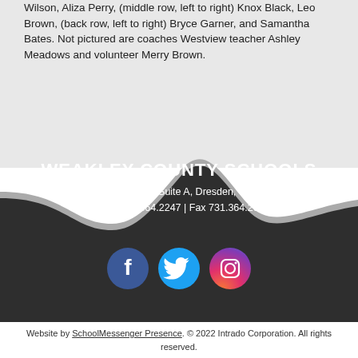Wilson, Aliza Perry, (middle row, left to right) Knox Black, Leo Brown, (back row, left to right) Bryce Garner, and Samantha Bates. Not pictured are coaches Westview teacher Ashley Meadows and volunteer Merry Brown.
[Figure (illustration): Dark wave/banner divider separating light gray content area from dark footer]
WEAKLEY COUNTY SCHOOLS
8319 Highway 22, Suite A, Dresden, TN 38225
Phone 731.364.2247 | Fax 731.364.2662
[Figure (illustration): Three social media icons: Facebook (blue circle), Twitter (light blue circle), Instagram (magenta/pink circle)]
Website by SchoolMessenger Presence. © 2022 Intrado Corporation. All rights reserved.